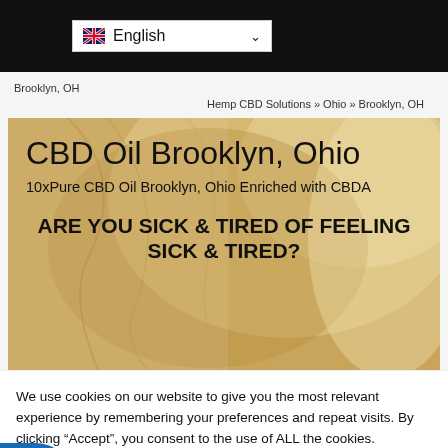English (language selector)
Brooklyn, OH
Hemp CBD Solutions » Ohio » Brooklyn, OH
[Figure (photo): Hero banner image showing blonde hair background with text overlay: CBD Oil Brooklyn, Ohio / 10xPure CBD Oil Brooklyn, Ohio Enriched with CBDA / ARE YOU SICK & TIRED OF FEELING SICK & TIRED?]
We use cookies on our website to give you the most relevant experience by remembering your preferences and repeat visits. By clicking “Accept”, you consent to the use of ALL the cookies.